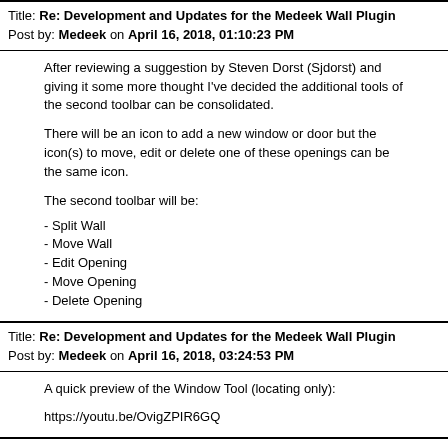Title: Re: Development and Updates for the Medeek Wall Plugin
Post by: Medeek on April 16, 2018, 01:10:23 PM
After reviewing a suggestion by Steven Dorst (Sjdorst) and giving it some more thought I've decided the additional tools of the second toolbar can be consolidated.
There will be an icon to add a new window or door but the icon(s) to move, edit or delete one of these openings can be the same icon.
The second toolbar will be:
- Split Wall
- Move Wall
- Edit Opening
- Move Opening
- Delete Opening
Title: Re: Development and Updates for the Medeek Wall Plugin
Post by: Medeek on April 16, 2018, 03:24:53 PM
A quick preview of the Window Tool (locating only):
https://youtu.be/OvigZPIR6GQ
Title: Re: Development and Updates for the Medeek Wall Plugin
Post by: Medeek on April 19, 2018, 12:55:56 AM